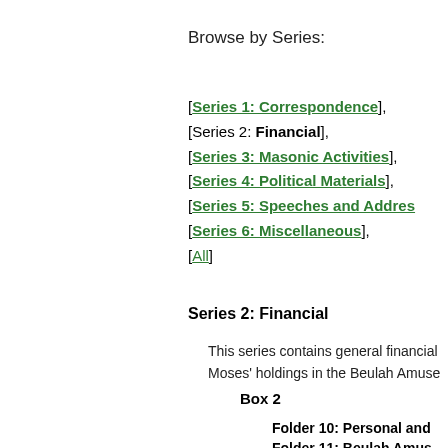Browse by Series:
[Series 1: Correspondence],
[Series 2: Financial],
[Series 3: Masonic Activities],
[Series 4: Political Materials],
[Series 5: Speeches and Addres...],
[Series 6: Miscellaneous],
[All]
Series 2: Financial
This series contains general financial... Moses' holdings in the Beulah Amuse...
Box 2
Folder 10: Personal and...
Folder 11: Beulah Amus...